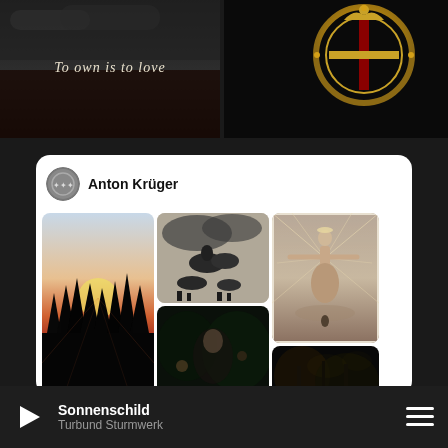[Figure (screenshot): Top left panel: dark atmospheric photo with text 'To own is to love' in gothic/blackletter font]
[Figure (screenshot): Top right panel: dark background with golden ornate symbol/emblem]
[Figure (screenshot): Social media profile card for Anton Krüger showing a grid of images: forest sunset, mythological equestrian artwork, religious figure with rays, dark figures, woman portrait, dark forest scene]
Anton Krüger
Sonnenschild / Turbund Sturmwerk